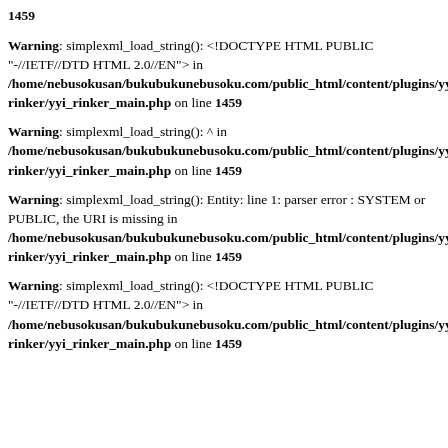1459
Warning: simplexml_load_string(): <!DOCTYPE HTML PUBLIC "-//IETF//DTD HTML 2.0//EN"> in /home/nebusokusan/bukubukunebusoku.com/public_html/content/plugins/yyi-rinker/yyi_rinker_main.php on line 1459
Warning: simplexml_load_string(): ^ in /home/nebusokusan/bukubukunebusoku.com/public_html/content/plugins/yyi-rinker/yyi_rinker_main.php on line 1459
Warning: simplexml_load_string(): Entity: line 1: parser error : SYSTEM or PUBLIC, the URI is missing in /home/nebusokusan/bukubukunebusoku.com/public_html/content/plugins/yyi-rinker/yyi_rinker_main.php on line 1459
Warning: simplexml_load_string(): <!DOCTYPE HTML PUBLIC "-//IETF//DTD HTML 2.0//EN"> in /home/nebusokusan/bukubukunebusoku.com/public_html/content/plugins/yyi-rinker/yyi_rinker_main.php on line 1459